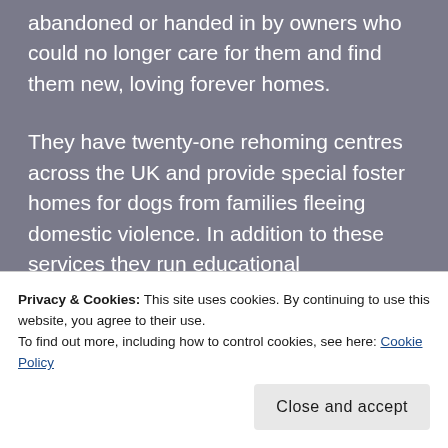abandoned or handed in by owners who could no longer care for them and find them new, loving forever homes.
They have twenty-one rehoming centres across the UK and provide special foster homes for dogs from families fleeing domestic violence. In addition to these services they run educational programmes in schools, training programmes for owners and actively campaign on dog welfare-related issues.
Privacy & Cookies: This site uses cookies. By continuing to use this website, you agree to their use.
To find out more, including how to control cookies, see here: Cookie Policy